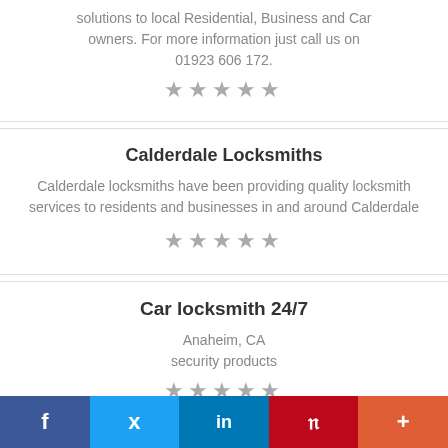solutions to local Residential, Business and Car owners. For more information just call us on 01923 606 172.
★★★★★
Calderdale Locksmiths
Calderdale locksmiths have been providing quality locksmith services to residents and businesses in and around Calderdale
★★★★★
Car locksmith 24/7
Anaheim, CA
security products
★★★★★